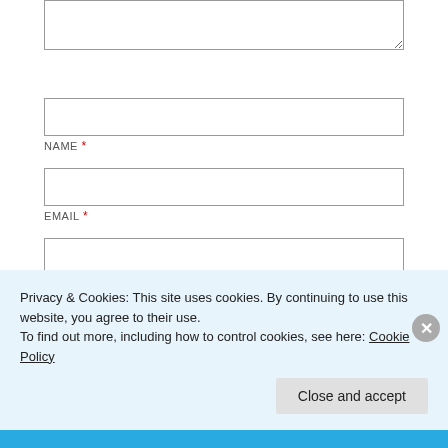[textarea partial]
NAME *
EMAIL *
WEBSITE
Post Comment
Notify me of new comments via email.
Privacy & Cookies: This site uses cookies. By continuing to use this website, you agree to their use. To find out more, including how to control cookies, see here: Cookie Policy
Close and accept